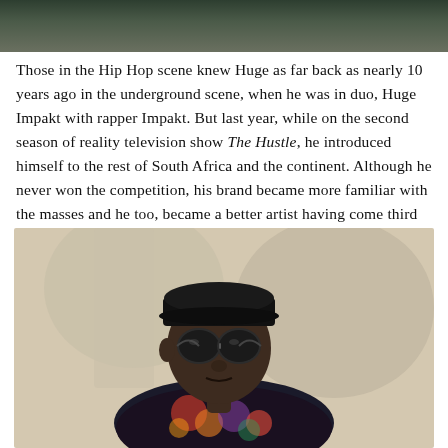[Figure (photo): Top portion of a photo, cropped, showing background with dark/muted tones, likely a partial portrait image]
Those in the Hip Hop scene knew Huge as far back as nearly 10 years ago in the underground scene, when he was in duo, Huge Impakt with rapper Impakt. But last year, while on the second season of reality television show The Hustle, he introduced himself to the rest of South Africa and the continent. Although he never won the competition, his brand became more familiar with the masses and he too, became a better artist having come third at the end of it.
[Figure (photo): Portrait photo of a young Black man wearing a black cap, round dark sunglasses, and a colorful floral patterned shirt, photographed outdoors with a blurred background]